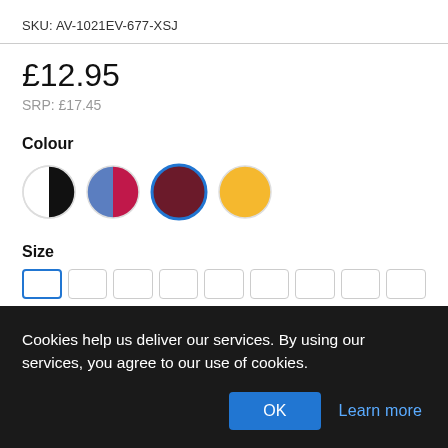SKU: AV-1021EV-677-XSJ
£12.95
SRP: £17.45
Colour
[Figure (other): Four colour swatches: black/white split circle, red/blue split circle, dark burgundy circle (selected, with blue border), yellow/gold circle]
Size
[Figure (other): Size selector buttons, first one selected (blue border), followed by several unselected buttons]
Cookies help us deliver our services. By using our services, you agree to our use of cookies.
OK
Learn more